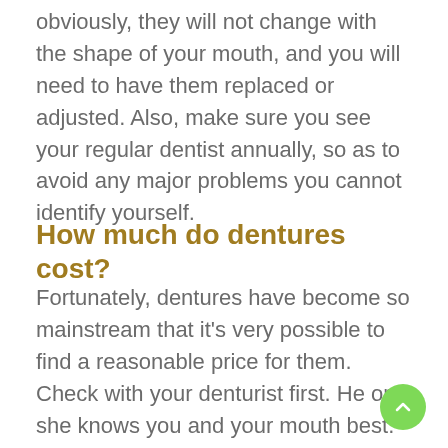obviously, they will not change with the shape of your mouth, and you will need to have them replaced or adjusted. Also, make sure you see your regular dentist annually, so as to avoid any major problems you cannot identify yourself.
How much do dentures cost?
Fortunately, dentures have become so mainstream that it's very possible to find a reasonable price for them. Check with your denturist first. He or she knows you and your mouth best.